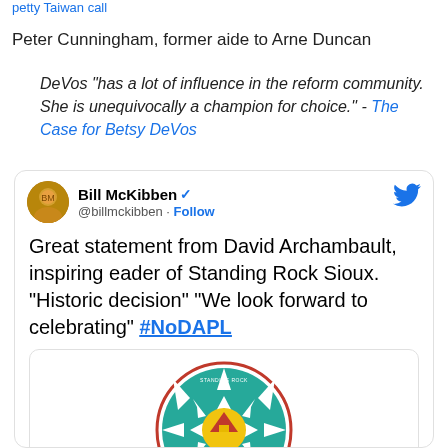petty Taiwan call
Peter Cunningham, former aide to Arne Duncan
DeVos "has a lot of influence in the reform community. She is unequivocally a champion for choice." - The Case for Betsy DeVos
[Figure (screenshot): Tweet from Bill McKibben (@billmckibben) with verified badge and Follow button. Tweet text: Great statement from David Archambault, inspiring eader of Standing Rock Sioux. "Historic decision" "We look forward to celebrating" #NoDAPL. Contains embedded image card showing Standing Rock Sioux Tribe seal/logo and caption: Standing Rock Sioux Tribe's Statement on U.S. Army Corps of Engineers Decision to Not Grant Easement]